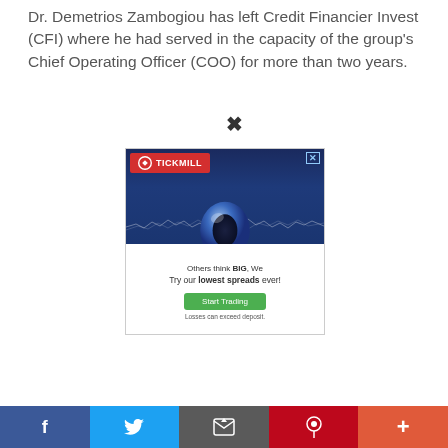Dr. Demetrios Zambogiou has left Credit Financier Invest (CFI) where he had served in the capacity of the group's Chief Operating Officer (COO) for more than two years.
[Figure (other): Tickmill advertisement banner featuring a large chrome zero ball rising from water with ocean/storm background. Contains Tickmill logo in red banner, text 'Others think BIG, We / Try our lowest spreads ever!', a green 'Start Trading' button, and disclaimer 'Losses can exceed deposit.']
[Figure (other): Social media sharing bar with five buttons: Facebook (blue), Twitter (light blue), Email/Share (gray), Pinterest (red), and More (orange-red)]